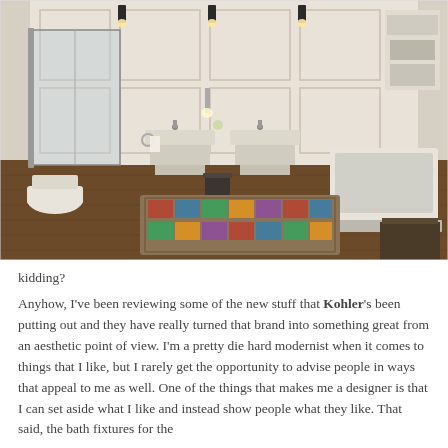[Figure (photo): Elegant white bathroom interior with wood floor, two pedestal sinks, walk-in glass shower, freestanding bathtub, toilet, wall sconces, and a colorful area rug in the center.]
kidding?
Anyhow, I've been reviewing some of the new stuff that Kohler's been putting out and they have really turned that brand into something great from an aesthetic point of view. I'm a pretty die hard modernist when it comes to things that I like, but I rarely get the opportunity to advise people in ways that appeal to me as well. One of the things that makes me a designer is that I can set aside what I like and instead show people what they like. That said, the bath fixtures for the